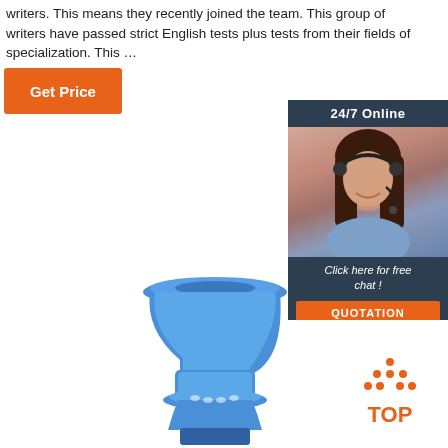writers. This means they recently joined the team. This group of writers have passed strict English tests plus tests from their fields of specialization. This …
[Figure (other): Orange 'Get Price' button]
[Figure (other): 24/7 Online customer support banner with a woman wearing a headset, 'Click here for free chat!' text, and an orange QUOTATION button]
[Figure (photo): Blue industrial pipe fitting / flange component on white background]
[Figure (other): Orange 'TOP' button with dots arranged in a triangle above the text]